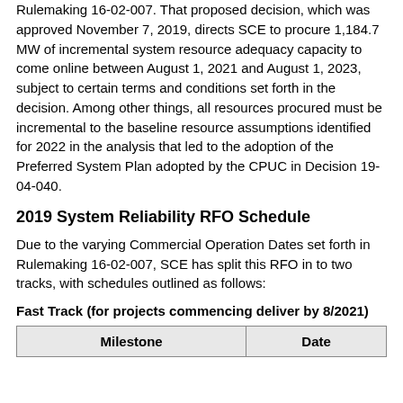Rulemaking 16-02-007. That proposed decision, which was approved November 7, 2019, directs SCE to procure 1,184.7 MW of incremental system resource adequacy capacity to come online between August 1, 2021 and August 1, 2023, subject to certain terms and conditions set forth in the decision. Among other things, all resources procured must be incremental to the baseline resource assumptions identified for 2022 in the analysis that led to the adoption of the Preferred System Plan adopted by the CPUC in Decision 19-04-040.
2019 System Reliability RFO Schedule
Due to the varying Commercial Operation Dates set forth in Rulemaking 16-02-007, SCE has split this RFO in to two tracks, with schedules outlined as follows:
Fast Track (for projects commencing deliver by 8/2021)
| Milestone | Date |
| --- | --- |